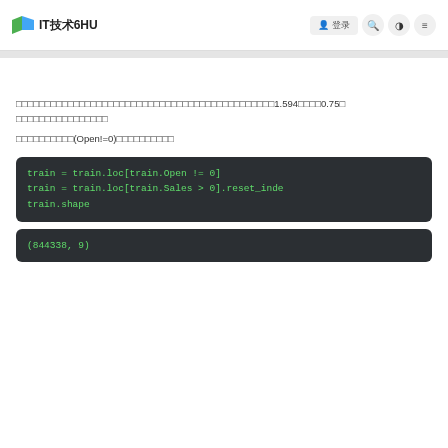IT技术6HU
□□□□□□□□□□□□□□□□□□□□□□□□□□□□□□□□□□□□□□□□□□□□□1.594□□□□0.75□ □□□□□□□□□□□□□□□
□□□□□□□□□□(Open!=0)□□□□□□□□□□
[Figure (screenshot): Code block showing: train = train.loc[train.Open != 0]
train = train.loc[train.Sales > 0].reset_inde
train.shape]
[Figure (screenshot): Output block showing: (844338, 9)]